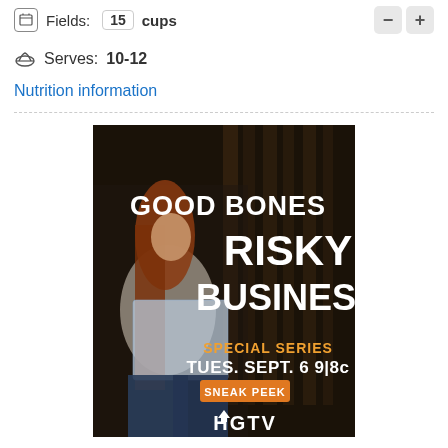Fields: 15 cups — —
Serves: 10-12
Nutrition information
[Figure (photo): HGTV advertisement for Good Bones Risky Business special series, featuring a woman with red hair holding blueprints in a construction site. Text reads: GOOD BONES RISKY BUSINESS, SPECIAL SERIES TUES. SEPT. 6 9|8c, SNEAK PEEK, HGTV]
ADVERTISEMENT